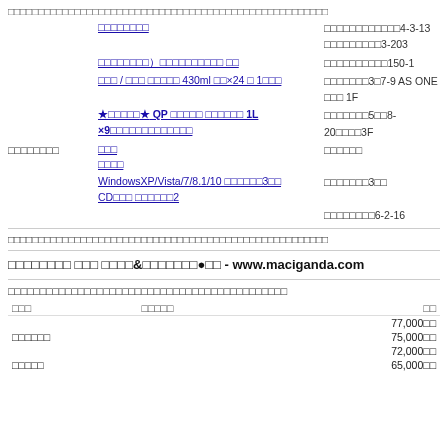（上段）品名・型番等　商品URL　出品者所在地
| 出品者名 | 商品名・型番等 | 出品者所在地 |
| --- | --- | --- |
|  | ショップリスト | 東京都渋谷区神宮前4-3-13
渋谷区神宮前3-203 |
|  | （株式会社）ナチュラルコスモ ほか | 大阪府泉大津市150-1 |
|  | 缶 / 瓶 ビール 業務用 430ml 箱×24 お 1箱分 | 東大阪市花園東町3丁7-9 AS ONE 花園 1F |
|  | ★業務用★ QP マヨネーズ キューピー 1L ×9個業務用食品用 | 大阪市北区角田町5丁8-20角田町3F |
| フリマアプリ | 商品 | 都内 |
|  | 比較サービス |  |
|  | WindowsXP/Vista/7/8.1/10 対応ソフト3点
CDのみ ソフト合計2 | 品川区大崎3丁 |
|  |  | 大田区多摩川6-2-16 |
上記の出品者情報は、弊社が調査した時点での情報です。現在の情報と異なる場合がございます。
フリマアプリ 比較 通販&フリマ●他 - www.maciganda.com
以下は主要フリマアプリの手数料情報をまとめたものです。現在の情報と異なる場合があります。
| 手数料 | 決済方法 | 上限 |
| --- | --- | --- |
|  |  | 77,000円 |
| メルカリ |  | 75,000円 |
|  |  | 72,000円 |
| ラクマ |  | 65,000円 |